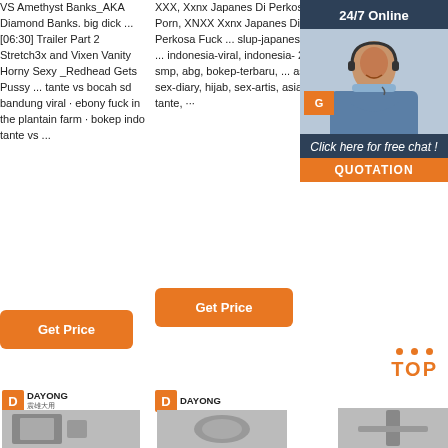VS Amethyst Banks_AKA Diamond Banks. big dick ... [06:30] Trailer Part 2 Stretch3x and Vixen Vanity Horny Sexy _Redhead Gets Pussy ... tante vs bocah sd bandung viral · ebony fuck in the plantain farm · bokep indo tante vs ...
XXX, Xxnx Japanes Di Perkosa Porn, XNXX Xxnx Japanes Di Perkosa Fuck ... slup-japanes-clip 2 ... indonesia-viral, indonesia- 2020, smp, abg, bokep-terbaru, ... asian-sex-diary, hijab, sex-artis, asian, tante, ···
mom and sons xvideo · Naija curvy thick mama nude pics · mom bbw japan · Xxnx artis...
[Figure (photo): Chat widget with woman wearing headset, 24/7 Online banner, G button, 'Click here for free chat!' text, QUOTATION button]
Get Price (button, column 1)
Get Price (button, column 2)
[Figure (logo): DAYONG brand logo with icon, bottom left]
[Figure (logo): DAYONG brand logo with icon, bottom center]
[Figure (other): TOP button with orange dots above, orange TOP text]
[Figure (photo): Product image 1 - industrial machine, DAYONG]
[Figure (photo): Product image 2 - industrial machine, DAYONG]
[Figure (photo): Product image 3 - industrial equipment]